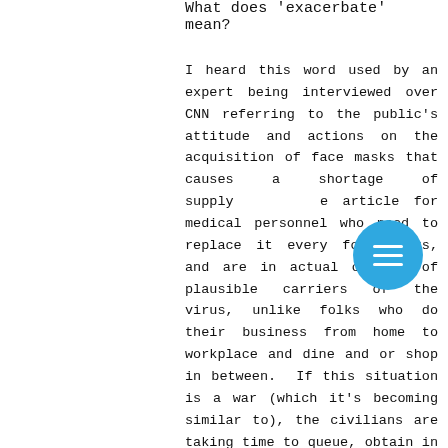What does 'exacerbate' mean?
I heard this word used by an expert being interviewed over CNN referring to the public's attitude and actions on the acquisition of face masks that causes a shortage of supply of the article for medical personnel who need to replace it every four hours, and are in actual contact of plausible carriers of the virus, unlike folks who do their business from home to workplace and dine and or shop in between.  If this situation is a war (which it's becoming similar to), the civilians are taking time to queue, obtain in large amounts and arm themselves of military gear; instigating scarcity of helmets, boots,